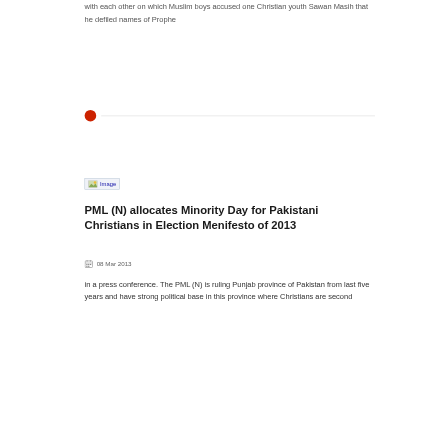with each other on which Muslim boys accused one Christian youth Sawan Masih that he defiled names of Prophe
[Figure (other): Red dot divider with horizontal line separator between articles]
[Figure (photo): Image placeholder (broken image icon labeled 'Image')]
PML (N) allocates Minority Day for Pakistani Christians in Election Menifesto of 2013
08 Mar 2013
in a press conference. The PML (N) is ruling Punjab province of Pakistan from last five years and have strong political base in this province where Christians are second